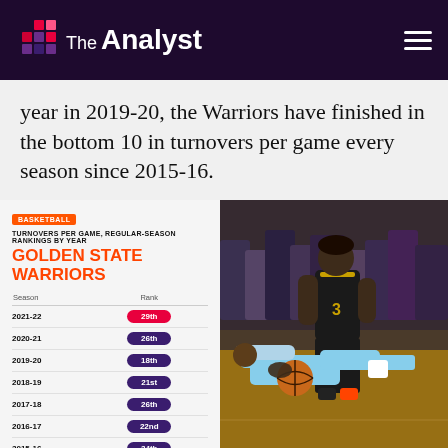The Analyst
year in 2019-20, the Warriors have finished in the bottom 10 in turnovers per game every season since 2015-16.
[Figure (infographic): Infographic: Turnovers per game, regular-season rankings by year for Golden State Warriors. Table shows seasons 2021-22 through 2015-16 with ranks: 29th, 26th, 18th, 21st, 26th, 22nd, 24th. Basketball tag in orange. The Analyst logo at bottom left.]
[Figure (photo): Basketball action photo showing a Golden State Warriors player (number 3 in black/gold) competing for a loose ball on the court against a player in a light blue uniform, with crowd in background.]